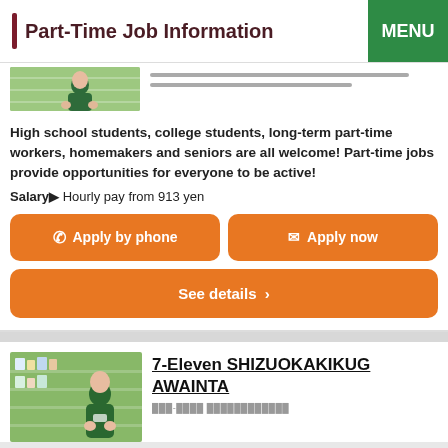Part-Time Job Information | MENU
[Figure (photo): Partial view of a store employee in green uniform standing in front of store shelves, with placeholder text lines to the right]
High school students, college students, long-term part-time workers, homemakers and seniors are all welcome! Part-time jobs provide opportunities for everyone to be active!
Salary▶ Hourly pay from 913 yen
Apply by phone
Apply now
See details ›
7-Eleven SHIZUOKAKIKUGAWAINTA
[Figure (photo): 7-Eleven store employee in green uniform standing in front of refrigerated beverage shelves]
███-████ ████████████